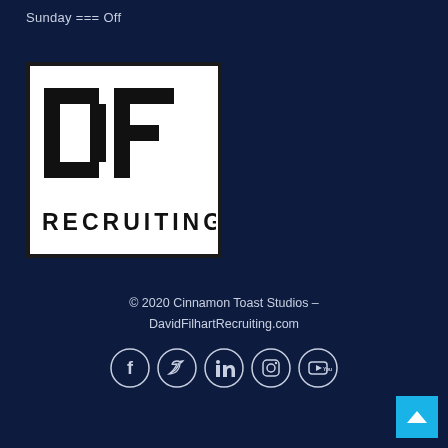Sunday === Off
[Figure (logo): DF Recruiting logo — white square with bold black 'DF' letters and 'RECRUITING' text below, black border]
© 2020 Cinnamon Toast Studios – DavidFilhartRecruiting.com
[Figure (illustration): Row of five social media icon circles: Facebook, Twitter, LinkedIn, Instagram, YouTube]